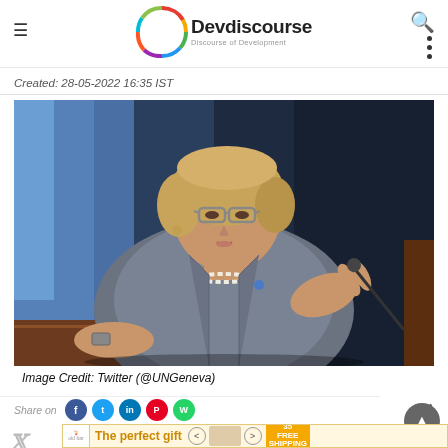Devdiscourse — Discourse of Development
Created: 28-05-2022 16:35 IST
[Figure (photo): Woman in grey blazer with glasses and pearl necklace speaking at a podium, with blue UN flag background]
Image Credit: Twitter (@UNGeneva)
Share on social media icons (Facebook, Twitter, LinkedIn, Pinterest, WhatsApp)
Advertisement banner: The perfect gift